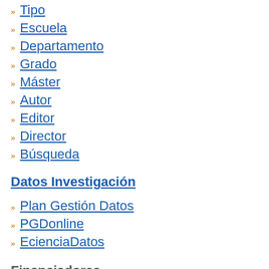Tipo
Escuela
Departamento
Grado
Máster
Autor
Editor
Director
Búsqueda
Datos Investigación
Plan Gestión Datos
PGDonline
EcienciaDatos
Financiadores
Unión Europea